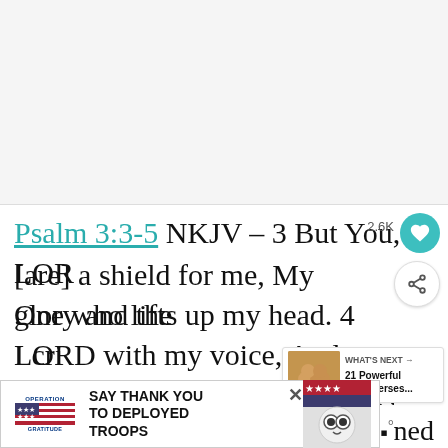[Figure (other): Large blank/white image area at top of page (advertisement or image placeholder)]
Psalm 3:3-5 NKJV – 3 But You, O LORD [are] a shield for me, My glory and the One who lifts up my head. 4 I cried to the LORD with my voice, And He heard me from His holy hill. Selah 5 I lay down and slept; I awoke, for the LORD sustained
[Figure (infographic): Operation Gratitude advertisement banner: SAY THANK YOU TO DEPLOYED TROOPS]
[Figure (infographic): What's Next panel showing '21 Powerful Bible Verses...' with thumbnail image of hands]